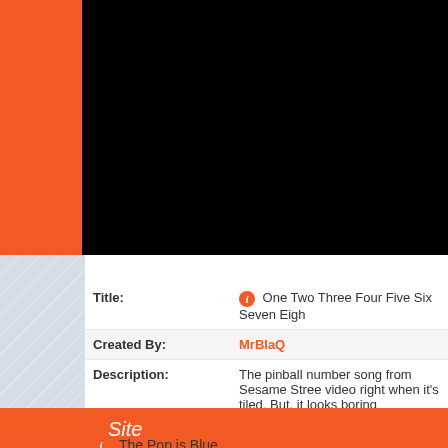[Figure (screenshot): Black video player area at top with orange background]
| Field | Value |
| --- | --- |
| Title: | i  One Two Three Four Five Six Seven Eigh |
| Created By: | MrBlaQ |
| Description: | The pinball number song from Sesame Stree video right when it's tiled. But, it looks boring compensate the lag in the .gif |
| Other keywords: | pinball  number  song  sesame |
Other sites with this keyword...
<< 1 2 3 4
Site
i  The Pop is Blue